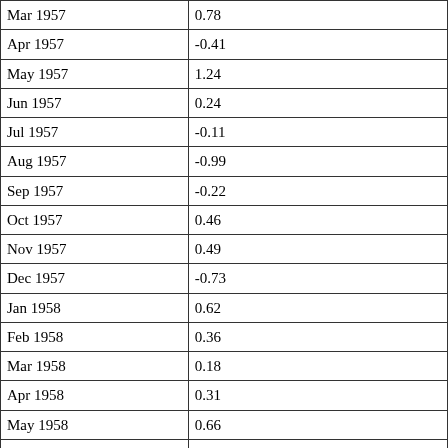| Mar 1957 | 0.78 |
| Apr 1957 | -0.41 |
| May 1957 | 1.24 |
| Jun 1957 | 0.24 |
| Jul 1957 | -0.11 |
| Aug 1957 | -0.99 |
| Sep 1957 | -0.22 |
| Oct 1957 | 0.46 |
| Nov 1957 | 0.49 |
| Dec 1957 | -0.73 |
| Jan 1958 | 0.62 |
| Feb 1958 | 0.36 |
| Mar 1958 | 0.18 |
| Apr 1958 | 0.31 |
| May 1958 | 0.66 |
| Jun 1958 | 1.48 |
| Jul 1958 | 0.74 |
| Aug 1958 | 2.13 |
| Sep 1958 | -0.05 |